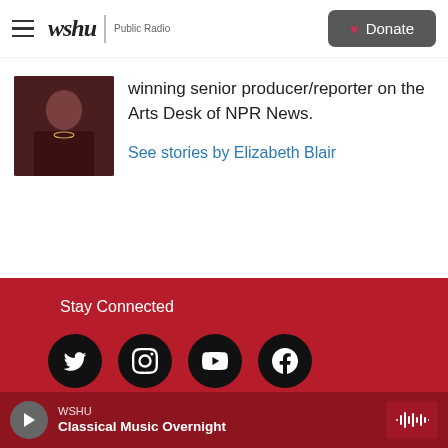wshu Public Radio | Donate
[Figure (photo): Profile photo of Elizabeth Blair, cropped headshot showing a person in dark clothing]
winning senior producer/reporter on the Arts Desk of NPR News.
See stories by Elizabeth Blair
Stay Connected
[Figure (infographic): Row of four social media icons: Twitter, Instagram, YouTube, Facebook — white icons on black circular backgrounds]
WSHU Classical Music Overnight